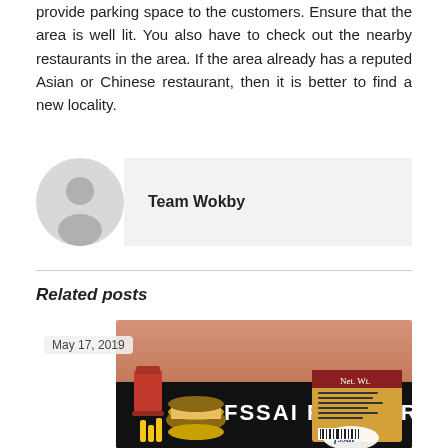provide parking space to the customers. Ensure that the area is well lit. You also have to check out the nearby restaurants in the area. If the area already has a reputed Asian or Chinese restaurant, then it is better to find a new locality.
[Figure (illustration): Author avatar: grey circle with white person silhouette]
Team Wokby
Related posts
[Figure (photo): FSSAI Registration banner image with food items and FSSAI logo. Date: May 17, 2019]